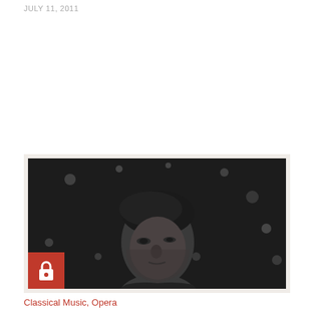JULY 11, 2011
[Figure (photo): Black and white close-up photograph of a man's face, with bokeh light spots visible in the dark background. A red lock/paywall badge is in the lower-left corner of the image.]
Classical Music, Opera
Legendary Aussie tenor honoured by the Paris